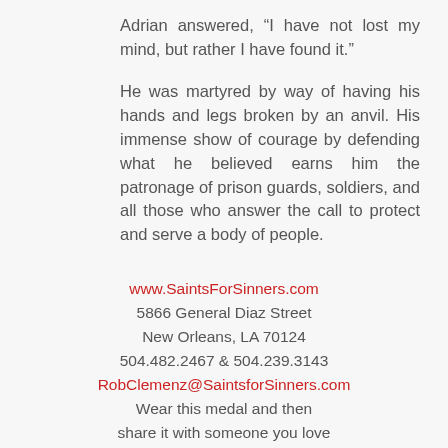Adrian answered, “I have not lost my mind, but rather I have found it.”
He was martyred by way of having his hands and legs broken by an anvil. His immense show of courage by defending what he believed earns him the patronage of prison guards, soldiers, and all those who answer the call to protect and serve a body of people.
www.SaintsForSinners.com
5866 General Diaz Street
New Orleans, LA 70124
504.482.2467 & 504.239.3143
RobClemenz@SaintsforSinners.com
Wear this medal and then
share it with someone you love
Each SfS medal is imported from Italy,
painted by hand in New Orleans, Louisiana,
and is